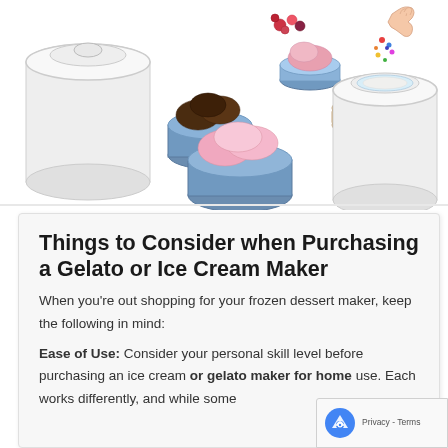[Figure (photo): Photo collage showing ice cream makers and bowls of ice cream/gelato in various flavors (chocolate, pink/strawberry), cookies, and a hand adding toppings to an ice cream maker. White background.]
Things to Consider when Purchasing a Gelato or Ice Cream Maker
When you’re out shopping for your frozen dessert maker, keep the following in mind:
Ease of Use: Consider your personal skill level before purchasing an ice cream or gelato maker for home use. Each works differently, and while some is true...